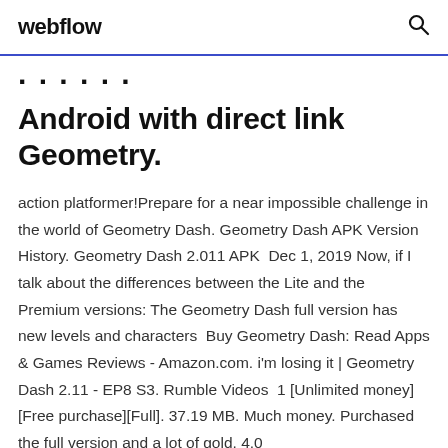webflow
Android with direct link Geometry.
action platformer!Prepare for a near impossible challenge in the world of Geometry Dash. Geometry Dash APK Version History. Geometry Dash 2.011 APK  Dec 1, 2019 Now, if I talk about the differences between the Lite and the Premium versions: The Geometry Dash full version has new levels and characters  Buy Geometry Dash: Read Apps & Games Reviews - Amazon.com. i'm losing it | Geometry Dash 2.11 - EP8 S3. Rumble Videos  1 [Unlimited money] [Free purchase][Full]. 37.19 MB. Much money. Purchased the full version and a lot of gold. 4.0